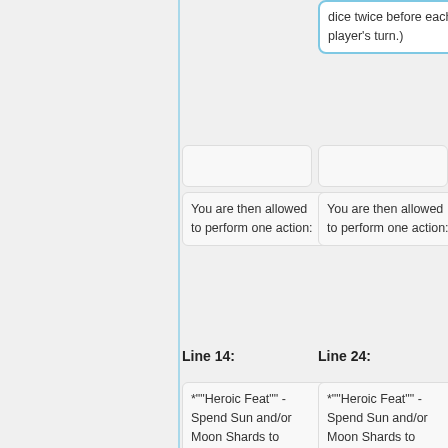dice twice before each player's turn.)
You are then allowed to perform one action:
You are then allowed to perform one action:
Line 14:
Line 24:
*"Heroic Feat" - Spend Sun and/or Moon Shards to purchase a single card. Place your Hero pawn on the pedestal containing the card you wish to
*"Heroic Feat" - Spend Sun and/or Moon Shards to purchase a single card. Place your Hero pawn on the pedestal containing the card you wish to